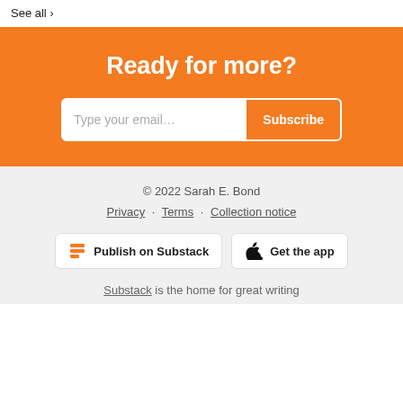See all →
Ready for more?
Type your email... Subscribe
© 2022 Sarah E. Bond
Privacy · Terms · Collection notice
Publish on Substack
Get the app
Substack is the home for great writing